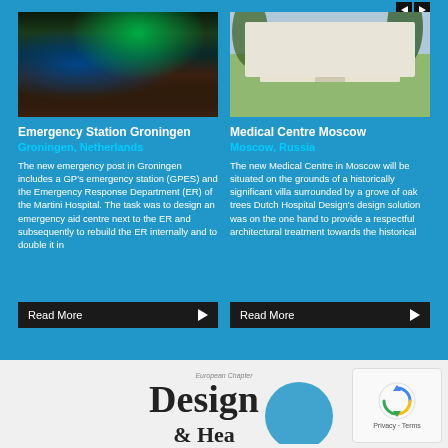[Figure (photo): Aerial night photo of Emergency Station Groningen with green illuminated signage]
Emergency Station Groningen
Groningen, Netherlands
The new emergency post in Groningen includes a GP's emergency station (GPES) and the Emergency Response Department (ER) of the Martini Hospital. The task was to design an emergency aid centre next to the ER and subsequently to rebuild the ER internally and to double it in
[Figure (photo): Daytime rendering of Medical Centre Moscow surrounded by oak trees]
Medical Centre Moscow
Moscow, Russia
The new Medical Centre in Moscow will be situated on the grounds of a historically significant villa surrounded by a grove of oak trees Dutch Hospital Design's design solution was on the one hand to provide a respectful architectural treatment towards the historical
Read More
Read More
[Figure (logo): Design & Health European Chapter logo at bottom of page]
[Figure (other): reCAPTCHA widget with Privacy and Terms links]